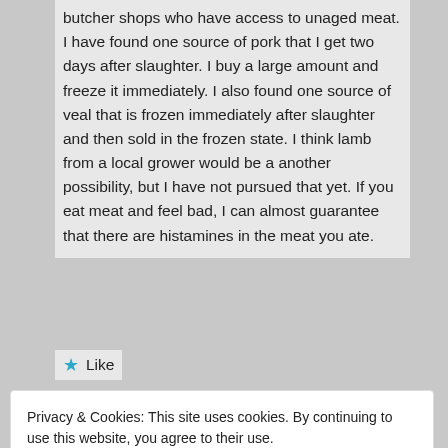butcher shops who have access to unaged meat. I have found one source of pork that I get two days after slaughter. I buy a large amount and freeze it immediately. I also found one source of veal that is frozen immediately after slaughter and then sold in the frozen state. I think lamb from a local grower would be a another possibility, but I have not pursued that yet. If you eat meat and feel bad, I can almost guarantee that there are histamines in the meat you ate.
★ Like
Privacy & Cookies: This site uses cookies. By continuing to use this website, you agree to their use.
To find out more, including how to control cookies, see here: Cookie Policy
Close and accept